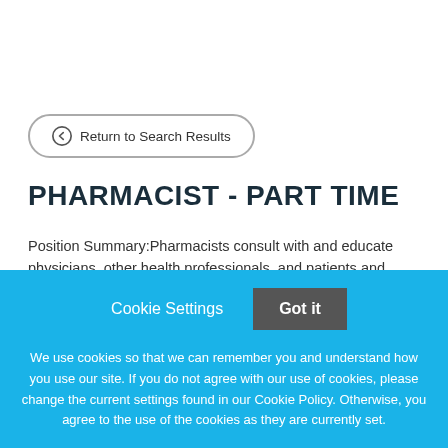Return to Search Results
PHARMACIST - PART TIME
Position Summary:Pharmacists consult with and educate physicians, other health professionals, and patients and
Cookie Settings
Got it
We use cookies so that we can remember you and understand how you use our site. If you do not agree with our use of cookies, please change the current settings found in our Cookie Policy. Otherwise, you agree to the use of the cookies as they are currently set.